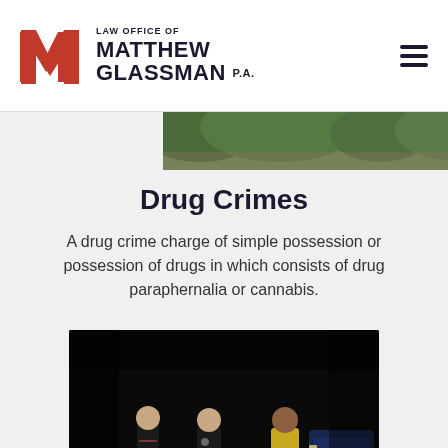Law Office of Matthew Glassman P.A.
[Figure (photo): Partial top view of a nighttime or outdoor scene, appearing as a strip image at the top of the content area]
Drug Crimes
A drug crime charge of simple possession or possession of drugs in which consists of drug paraphernalia or cannabis.
[Figure (photo): Nighttime photo of two police officers in dark uniforms standing and interacting with a person in a yellow shirt and light shorts on a dark road, with a vehicle visible in the background]